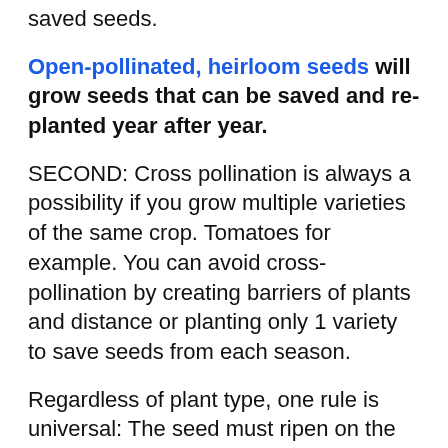saved seeds.
Open-pollinated, heirloom seeds will grow seeds that can be saved and re-planted year after year.
SECOND: Cross pollination is always a possibility if you grow multiple varieties of the same crop. Tomatoes for example. You can avoid cross-pollination by creating barriers of plants and distance or planting only 1 variety to save seeds from each season.
Regardless of plant type, one rule is universal: The seed must ripen on the plant in order to